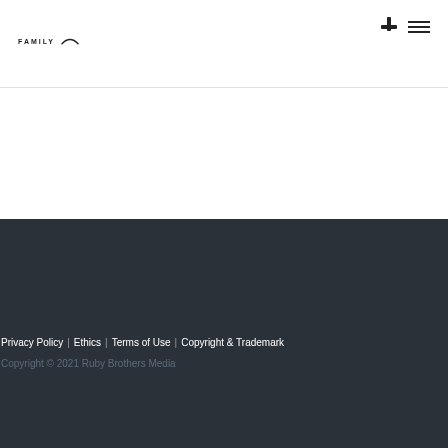[Figure (logo): Website header with logo text 'FAMILY' and arc/swoosh graphic, plus search and hamburger menu icons on the right]
Privacy Policy  |  Ethics  |  Terms of Use  |  Copyright & Trademark
Copyright © 2021 Ruby Brothers Media